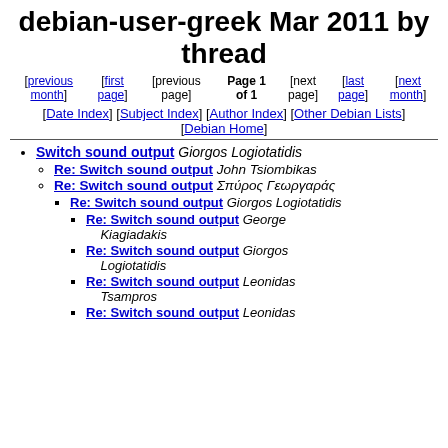debian-user-greek Mar 2011 by thread
[previous month] [first page] [previous page] Page 1 of 1 [next page] [last page] [next month]
[Date Index] [Subject Index] [Author Index] [Other Debian Lists] [Debian Home]
Switch sound output Giorgos Logiotatidis
Re: Switch sound output John Tsiombikas
Re: Switch sound output Σπύρος Γεωργαράς
Re: Switch sound output Giorgos Logiotatidis
Re: Switch sound output George Kiagiadakis
Re: Switch sound output Giorgos Logiotatidis
Re: Switch sound output Leonidas Tsampros
Re: Switch sound output Leonidas